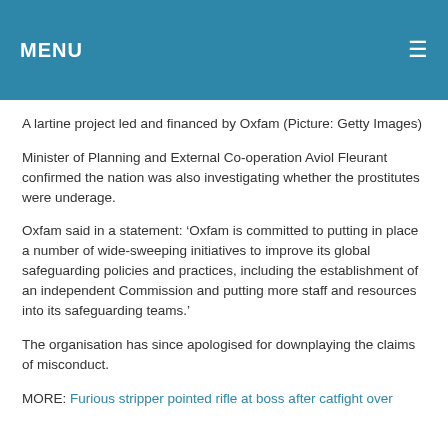MENU ≡
A lartine project led and financed by Oxfam (Picture: Getty Images)
Minister of Planning and External Co-operation Aviol Fleurant confirmed the nation was also investigating whether the prostitutes were underage.
Oxfam said in a statement: ‘Oxfam is committed to putting in place a number of wide-sweeping initiatives to improve its global safeguarding policies and practices, including the establishment of an independent Commission and putting more staff and resources into its safeguarding teams.’
The organisation has since apologised for downplaying the claims of misconduct.
MORE: Furious stripper pointed rifle at boss after catfight over